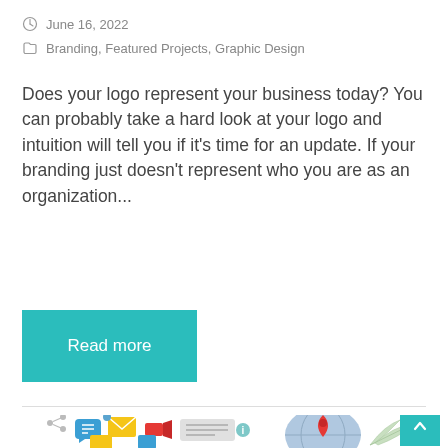June 16, 2022
Branding, Featured Projects, Graphic Design
Does your logo represent your business today? You can probably take a hard look at your logo and intuition will tell you if it's time for an update. If your branding just doesn't represent who you are as an organization...
Read more
[Figure (illustration): Illustration of digital communication icons including chat bubbles, email envelopes, video camera, location pin on a globe, and decorative leaves, with a share icon and a teal scroll-to-top button.]